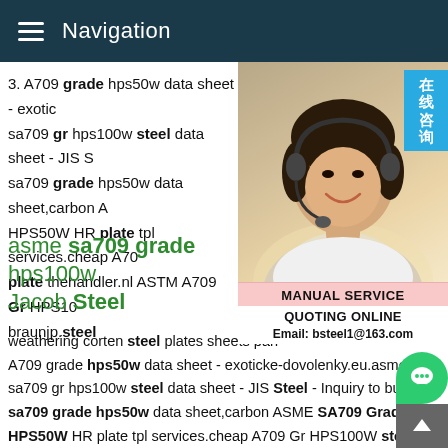Navigation
3. A709 grade hps50w data sheet - exotic
sa709 gr hps100w steel data sheet - JIS S
sa709 grade hps50w data sheet,carbon A
HPS50W HR plate tpl services.cheap A70
plate thehandler.nl ASTM A709 Gr HPS10
braunjp.steel
asme sa709 grade hps100w Jacob Steel
weathering corten steel plates sheets pan A709 grade hps50w data sheet - exoticke-dovolenky.eu.asme sa709 gr hps100w steel data sheet - JIS Steel - Inquiry to buy the sa709 grade hps50w data sheet,carbon ASME SA709 Grade HPS50W HR plate tpl services.cheap A709 Gr HPS100W steel plate thehandler.nl ASTM A709 Gr HPS100W steel plate supp braunjp.steel a709 grade hps100w price - BDN STEELa709 g
[Figure (photo): Customer service representative (woman with headset) with Chinese language badge and Manual Service / Quoting Online contact widget showing Email: bsteel1@163.com]